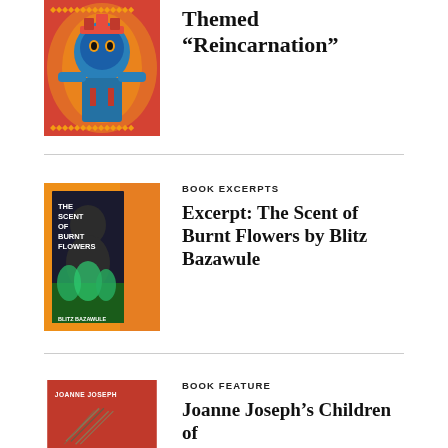[Figure (illustration): Book cover with blue deity figure on red/orange psychedelic background]
Themed “Reincarnation”
[Figure (illustration): Book cover: The Scent of Burnt Flowers by Blitz Bazawule, yellow/orange background with dark silhouette figure]
BOOK EXCERPTS
Excerpt: The Scent of Burnt Flowers by Blitz Bazawule
[Figure (illustration): Book cover: Joanne Joseph's book, red background with JOANNE JOSEPH text]
BOOK FEATURE
Joanne Joseph’s Children of